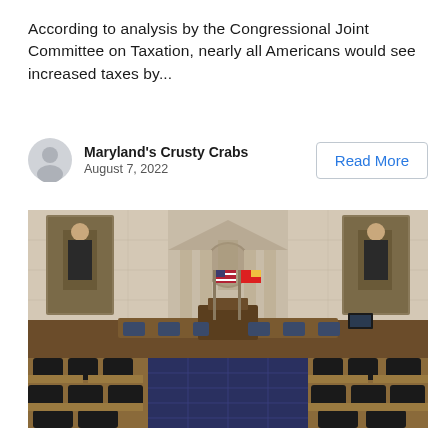According to analysis by the Congressional Joint Committee on Taxation, nearly all Americans would see increased taxes by...
Maryland's Crusty Crabs
August 7, 2022
Read More
[Figure (photo): Interior of a legislative chamber (likely Maryland State House) showing empty desks and chairs arranged in rows, a raised dais at the front with a speaker's podium, American and Maryland state flags, marble walls, and portrait paintings on either side.]